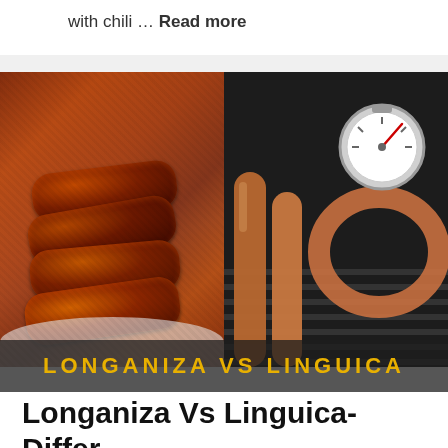with chili … Read more
[Figure (photo): Split image: left side shows a stack of dark reddish-brown longaniza sausages on a white plate; right side shows linguica sausages on a grill with a meat thermometer. Text overlay reads LONGANIZA VS LINGUICA in gold letters on dark bar.]
Longaniza Vs Linguica- Differences And...